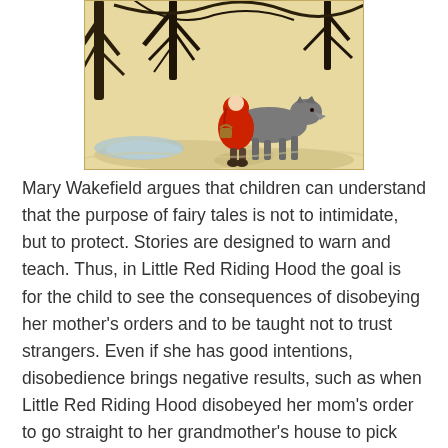[Figure (illustration): Illustration of Little Red Riding Hood in a red cloak standing next to a wolf in a winter forest scene with bare trees. Classic fairy tale artwork in a vintage style with warm golden-brown tones.]
Mary Wakefield argues that children can understand that the purpose of fairy tales is not to intimidate, but to protect. Stories are designed to warn and teach. Thus, in Little Red Riding Hood the goal is for the child to see the consequences of disobeying her mother's orders and to be taught not to trust strangers. Even if she has good intentions, disobedience brings negative results, such as when Little Red Riding Hood disobeyed her mom's order to go straight to her grandmother's house to pick flowers, an innocent act whose dramatic